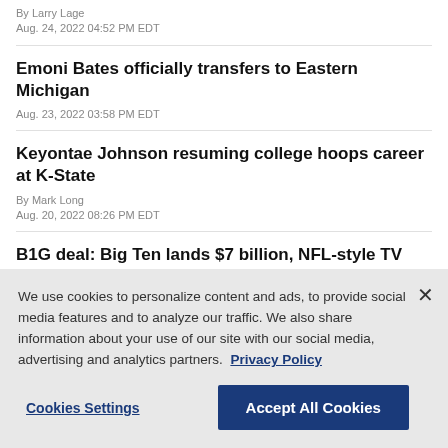By Larry Lage
Aug. 24, 2022 04:52 PM EDT
Emoni Bates officially transfers to Eastern Michigan
Aug. 23, 2022 03:58 PM EDT
Keyontae Johnson resuming college hoops career at K-State
By Mark Long
Aug. 20, 2022 08:26 PM EDT
B1G deal: Big Ten lands $7 billion, NFL-style TV
We use cookies to personalize content and ads, to provide social media features and to analyze our traffic. We also share information about your use of our site with our social media, advertising and analytics partners. Privacy Policy
Cookies Settings
Accept All Cookies